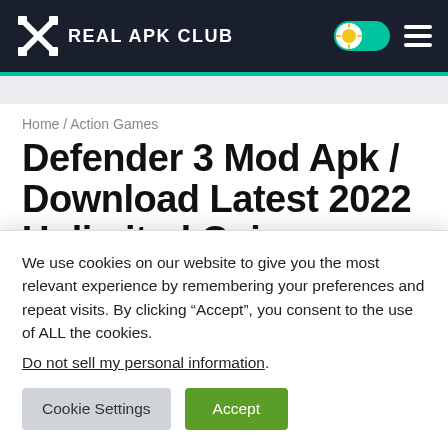REAL APK CLUB
Home / Action Games
Defender 3 Mod Apk / Download Latest 2022 Unlimited Coins, Gems
We use cookies on our website to give you the most relevant experience by remembering your preferences and repeat visits. By clicking “Accept”, you consent to the use of ALL the cookies.
Do not sell my personal information.
Cookie Settings   Accept